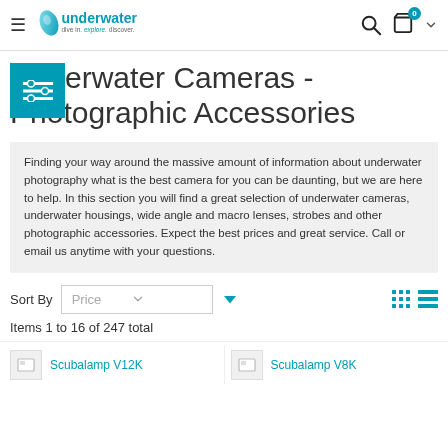underwater — dive in. explore. discover.
Underwater Cameras - Photographic Accessories
Finding your way around the massive amount of information about underwater photography what is the best camera for you can be daunting, but we are here to help. In this section you will find a great selection of underwater cameras, underwater housings, wide angle and macro lenses, strobes and other photographic accessories. Expect the best prices and great service. Call or email us anytime with your questions.
Sort By  Price  Items 1 to 16 of 247 total
Scubalamp V12K
Scubalamp V8K